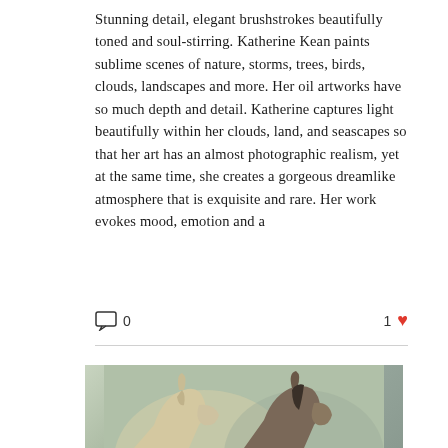Stunning detail, elegant brushstrokes beautifully toned and soul-stirring. Katherine Kean paints sublime scenes of nature, storms, trees, birds, clouds, landscapes and more. Her oil artworks have so much depth and detail. Katherine captures light beautifully within her clouds, land, and seascapes so that her art has an almost photographic realism, yet at the same time, she creates a gorgeous dreamlike atmosphere that is exquisite and rare. Her work evokes mood, emotion and a
[Figure (photo): Close-up photograph of two horse heads (one light, one darker) against a muted greenish-grey background]